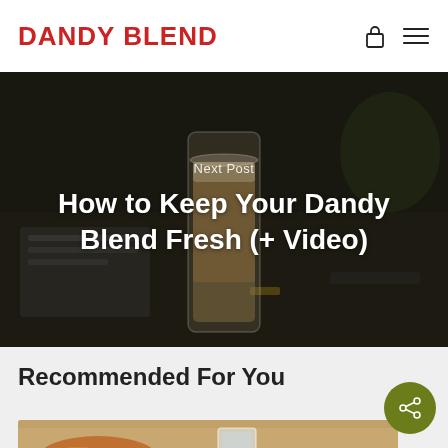DANDY BLEND
Next Post
How to Keep Your Dandy Blend Fresh (+ Video)
[Figure (photo): Background photo of an iced coffee drink in a tall glass on a desk with notebook and tools, dark moody tone]
Recommended For You
[Figure (photo): Photo of a croissant and a glass of water on a wooden table, partially visible at bottom of page]